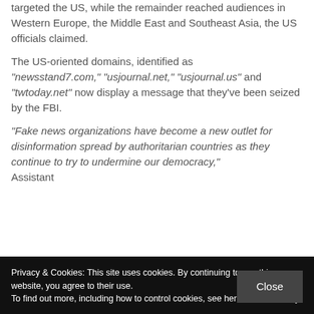targeted the US, while the remainder reached audiences in Western Europe, the Middle East and Southeast Asia, the US officials claimed.
The US-oriented domains, identified as "newsstand7.com," "usjournal.net," "usjournal.us" and "twtoday.net" now display a message that they've been seized by the FBI.
"Fake news organizations have become a new outlet for disinformation spread by authoritarian countries as they continue to try to undermine our democracy," Assistant
Privacy & Cookies: This site uses cookies. By continuing to use this website, you agree to their use.
To find out more, including how to control cookies, see here: Cookie Policy